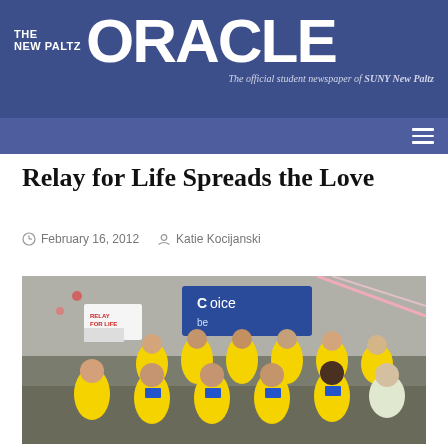THE NEW PALTZ ORACLE — The official student newspaper of SUNY New Paltz
Relay for Life Spreads the Love
February 16, 2012   Katie Kocijanski
[Figure (photo): Group photo of approximately 15 students wearing yellow Relay for Life t-shirts, posing in an indoor room with Relay for Life banners and American Cancer Society signage visible in the background.]